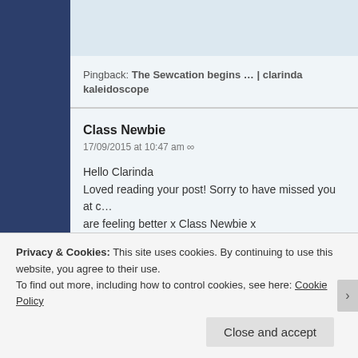Pingback: The Sewcation begins … | clarinda kaleidoscope
Class Newbie
17/09/2015 at 10:47 am ∞
Hello Clarinda
Loved reading your post! Sorry to have missed you at c… are feeling better x Class Newbie x
★ Like
Reply
Privacy & Cookies: This site uses cookies. By continuing to use this website, you agree to their use.
To find out more, including how to control cookies, see here: Cookie Policy
Close and accept